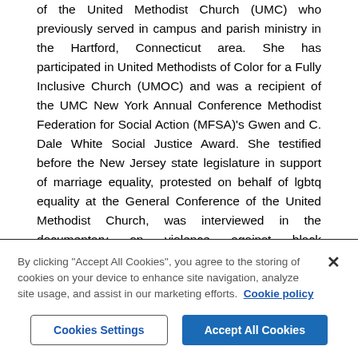of the United Methodist Church (UMC) who previously served in campus and parish ministry in the Hartford, Connecticut area. She has participated in United Methodists of Color for a Fully Inclusive Church (UMOC) and was a recipient of the UMC New York Annual Conference Methodist Federation for Social Action (MFSA)'s Gwen and C. Dale White Social Justice Award. She testified before the New Jersey state legislature in support of marriage equality, protested on behalf of lgbtq equality at the General Conference of the United Methodist Church, was interviewed in the documentary on violence against black women "NO!", received Auburn Seminary's inaugural Walter Wink Scholar-Activist award and
By clicking "Accept All Cookies", you agree to the storing of cookies on your device to enhance site navigation, analyze site usage, and assist in our marketing efforts. Cookie policy